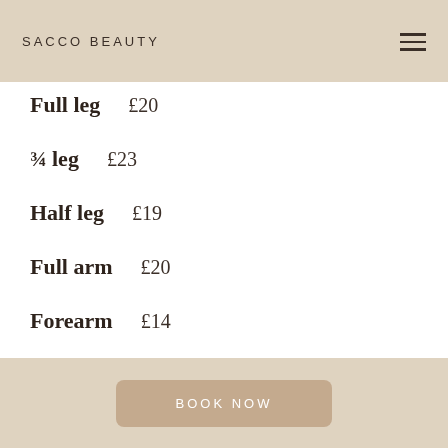SACCO BEAUTY
Full leg    £20
¾ leg    £23
Half leg    £19
Full arm    £20
Forearm    £14
Eyebrows    £12
BOOK NOW